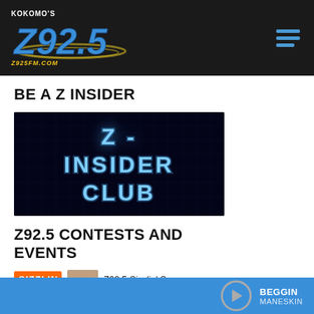[Figure (logo): Kokomo's Z92.5 radio station logo with Z925FM.COM URL and navigation hamburger menu on dark header bar]
BE A Z INSIDER
[Figure (illustration): Dark blue background image with neon-lit text reading Z- INSIDER CLUB]
Z92.5 CONTESTS AND EVENTS
Z92.5 Sizzlin' Summer
[Figure (screenshot): Player bar at bottom showing play button and song info: BEGGIN by MANESKIN]